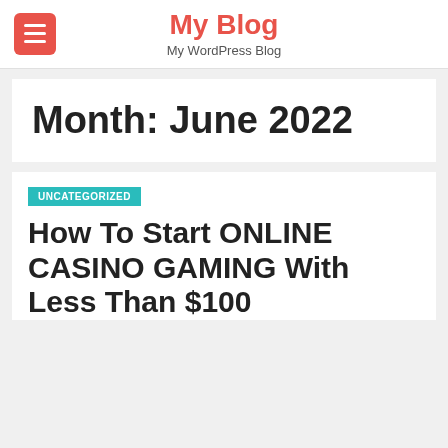My Blog — My WordPress Blog
Month: June 2022
UNCATEGORIZED
How To Start ONLINE CASINO GAMING With Less Than $100